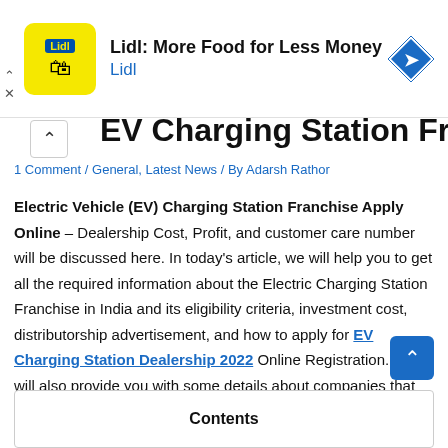[Figure (advertisement): Lidl advertisement banner with yellow logo, text 'Lidl: More Food for Less Money' and blue navigation icon]
EV Charging Station Franchise Apply Online
1 Comment / General, Latest News / By Adarsh Rathor
Electric Vehicle (EV) Charging Station Franchise Apply Online – Dealership Cost, Profit, and customer care number will be discussed here. In today's article, we will help you to get all the required information about the Electric Charging Station Franchise in India and its eligibility criteria, investment cost, distributorship advertisement, and how to apply for EV Charging Station Dealership 2022 Online Registration. We will also provide you with some details about companies that give electric charging station franchises in India. So read the full article to know all this information as we have mentioned.
Contents